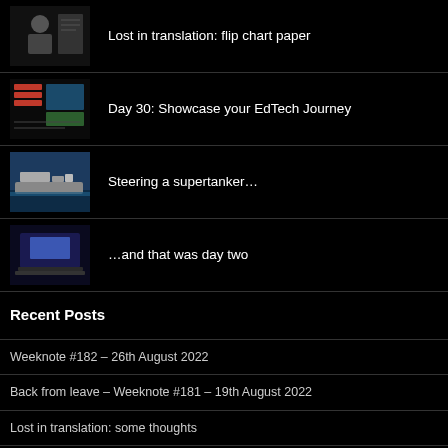Lost in translation: flip chart paper
Day 30: Showcase your EdTech Journey
Steering a supertanker…
…and that was day two
Recent Posts
Weeknote #182 – 26th August 2022
Back from leave – Weeknote #181 – 19th August 2022
Lost in translation: some thoughts
What about the croissant?